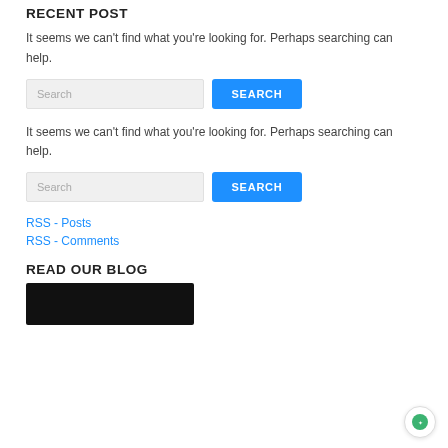RECENT POST
It seems we can't find what you're looking for. Perhaps searching can help.
[Figure (other): Search input field with placeholder text 'Search' and a blue SEARCH button]
It seems we can't find what you're looking for. Perhaps searching can help.
[Figure (other): Search input field with placeholder text 'Search' and a blue SEARCH button]
RSS - Posts
RSS - Comments
READ OUR BLOG
[Figure (photo): Dark/black blog post thumbnail image]